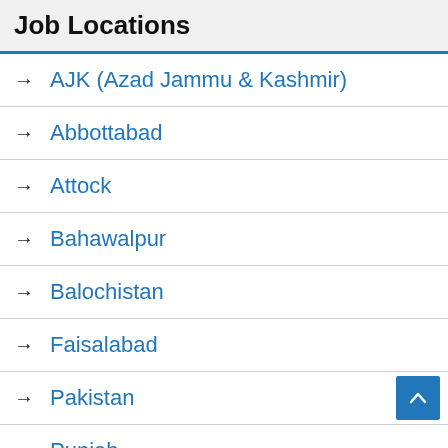Job Locations
AJK (Azad Jammu & Kashmir)
Abbottabad
Attock
Bahawalpur
Balochistan
Faisalabad
Pakistan
Punjab